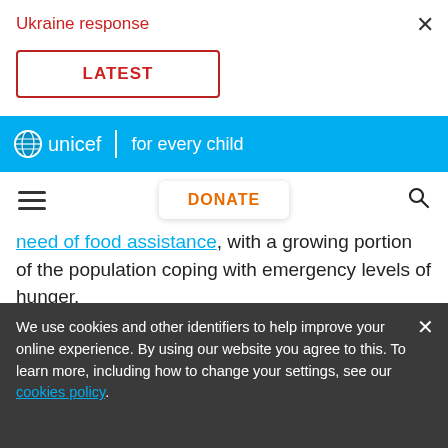Ukraine response
LATEST
unicef for every child
DONATE
need of food assistance, with a growing portion of the population coping with emergency levels of hunger.
In April 2022, Sana‘a authorities signed an Action Plan with the United Nations to protect children and
We use cookies and other identifiers to help improve your online experience. By using our website you agree to this. To learn more, including how to change your settings, see our cookies policy.